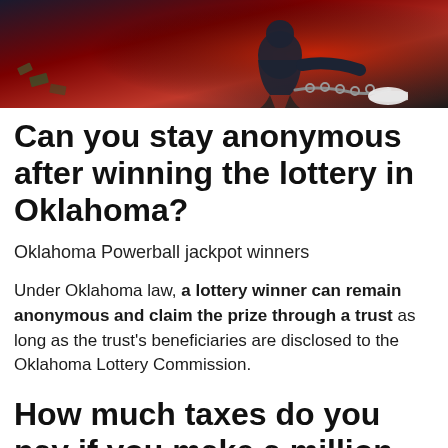[Figure (illustration): Illustrated image with dark red/maroon background showing a figure in dark clothing with chains, suggesting a theme of anonymity or captivity]
Can you stay anonymous after winning the lottery in Oklahoma?
Oklahoma Powerball jackpot winners
Under Oklahoma law, a lottery winner can remain anonymous and claim the prize through a trust as long as the trust's beneficiaries are disclosed to the Oklahoma Lottery Commission.
How much taxes do you pay if you make a million dollars?